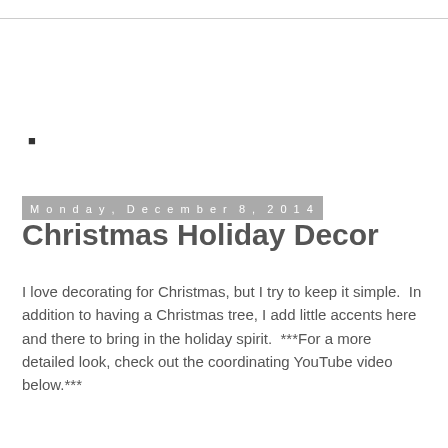▪
Monday, December 8, 2014
Christmas Holiday Decor
I love decorating for Christmas, but I try to keep it simple.  In addition to having a Christmas tree, I add little accents here and there to bring in the holiday spirit.  ***For a more detailed look, check out the coordinating YouTube video below.***